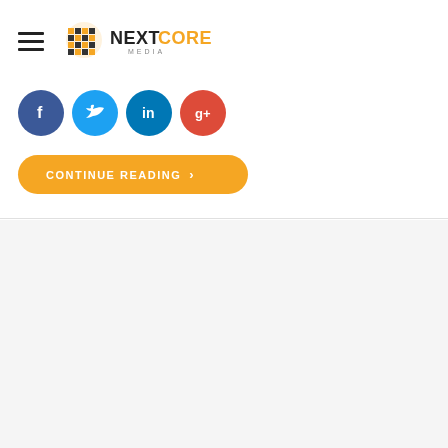[Figure (logo): NextCore Media logo with yellow/black globe icon and NEXTCORE MEDIA text]
[Figure (infographic): Social share buttons: Facebook (blue), Twitter (light blue), LinkedIn (dark blue), Google+ (red)]
CONTINUE READING >
by Natalie Lorenzo
August 5, 2020
[Figure (photo): Photo of coffee cup and notepad showing 'Don't be' text in blue handwriting on a spiral notebook]